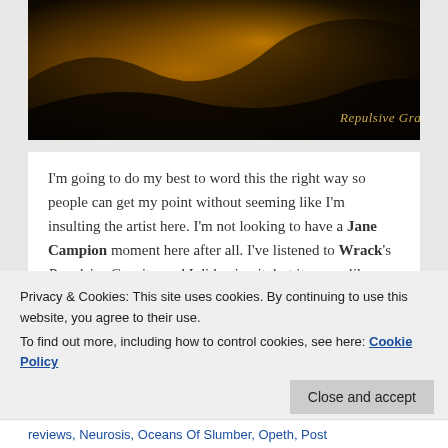[Figure (photo): Album cover image for 'Repulsive Gravity' by Wrack — dark background with orange/yellow tones, with the album title 'Repulsive Gravity' in italic gold text at bottom right]
I'm going to do my best to word this the right way so people can get my point without seeming like I'm insulting the artist here. I'm not looking to have a Jane Campion moment here after all. I've listened to Wrack's Repulsive Gravity, and I did enjoy it, but it seems like money was left on the table. Allow me to explain.
Continue reading →
Privacy & Cookies: This site uses cookies. By continuing to use this website, you agree to their use.
To find out more, including how to control cookies, see here: Cookie Policy
Close and accept
reviews, Neurosis, Oceans Of Slumber, Opeth, Post